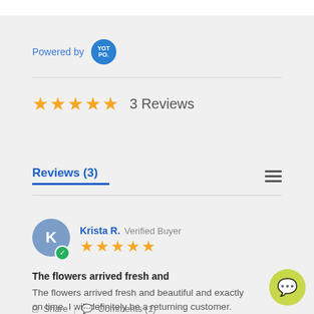[Figure (logo): Powered by Yotpo logo badge — blue circle with 'YOT PO.' text in white]
★★★★★  3 Reviews
Reviews (3)
Krista R.  Verified Buyer
★★★★★
The flowers arrived fresh and
The flowers arrived fresh and beautiful and exactly on time. I will definitely be a returning customer. Thank you!
Share  |  Comments (1)